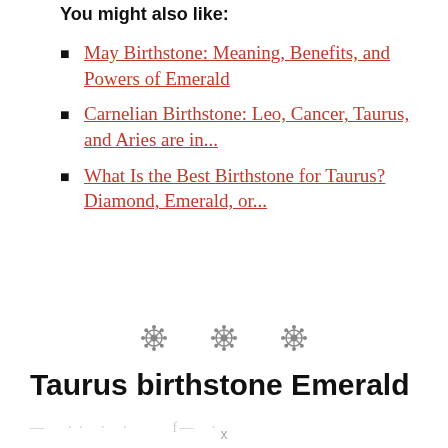You might also like:
May Birthstone: Meaning, Benefits, and Powers of Emerald
Carnelian Birthstone: Leo, Cancer, Taurus, and Aries are in...
What Is the Best Birthstone for Taurus? Diamond, Emerald, or...
[Figure (illustration): Three decorative sun/gear ornament symbols as section dividers]
Taurus birthstone Emerald
— · · · · · f— ·